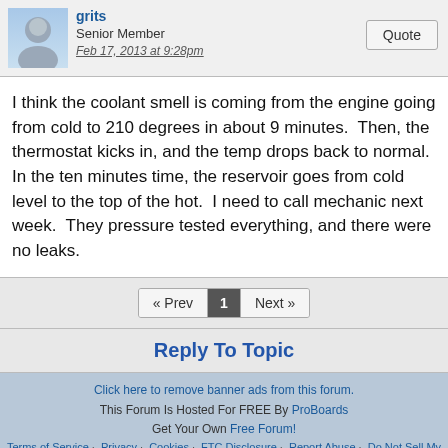grits
Senior Member
Feb 17, 2013 at 9:28pm
I think the coolant smell is coming from the engine going from cold to 210 degrees in about 9 minutes.  Then, the thermostat kicks in, and the temp drops back to normal.  In the ten minutes time, the reservoir goes from cold level to the top of the hot.  I need to call mechanic next week.  They pressure tested everything, and there were no leaks.
« Prev  1  Next »
Reply To Topic
Click here to remove banner ads from this forum.
This Forum Is Hosted For FREE By ProBoards
Get Your Own Free Forum!
Terms of Service  Privacy  Cookies  FTC Disclosure  Report Abuse  Do Not Sell My Personal Information
◄ Back  ▲ Top    Desktop